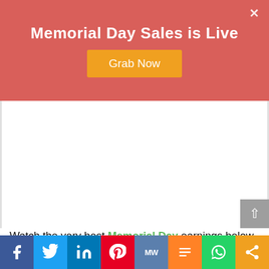Memorial Day Sales is Live
Grab Now
Watch the very best Memorial Day earnings below and see our best deal selections, which can be always updated with the ideal standout deals which
Facebook | Twitter | LinkedIn | Pinterest | MW | Mix | WhatsApp | Share